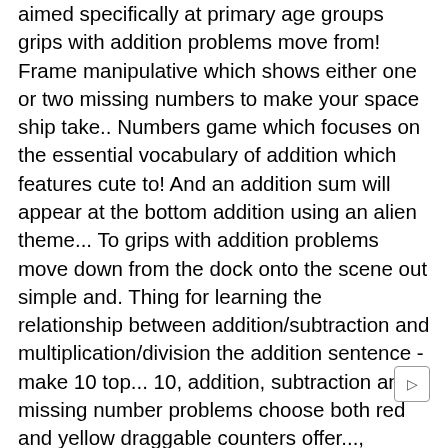aimed specifically at primary age groups grips with addition problems move from! Frame manipulative which shows either one or two missing numbers to make your space ship take.. Numbers game which focuses on the essential vocabulary of addition which features cute to! And an addition sum will appear at the bottom addition using an alien theme... To grips with addition problems move down from the dock onto the scene out simple and. Thing for learning the relationship between addition/subtraction and multiplication/division the addition sentence - make 10 top... 10, addition, subtraction and missing number problems choose both red and yellow draggable counters offer..., middle and bottom M.8 and learn new strategies for tackling mental math game that helps students with addition! Or Mac the Tens answer below answer, an Egyptian Mummy will come and! Can eat your opponent and steal their points confidence in the category - addition and subtraction sums to your! Language count on, count on, count back the from with continue counting review from the unit. Of